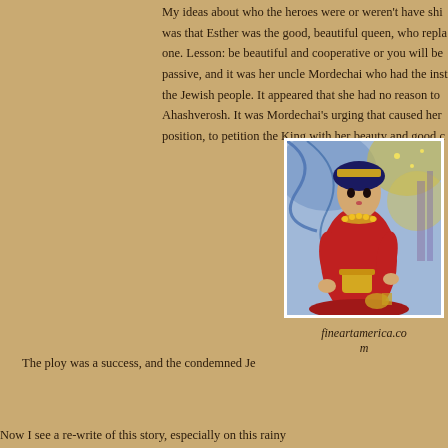My ideas about who the heroes were or weren't have shi... was that Esther was the good, beautiful queen, who repla... one. Lesson: be beautiful and cooperative or you will be... passive, and it was her uncle Mordechai who had the inst... the Jewish people. It appeared that she had no reason to... Ahashverosh. It was Mordechai's urging that caused her... position, to petition the King with her beauty and good c...
[Figure (illustration): Colorful artistic illustration of a queen figure in red garments holding a vessel, with decorative background in blues and golds]
fineartamerica.com
The ploy was a success, and the condemned Je...
Now I see a re-write of this story, especially on this rainy...